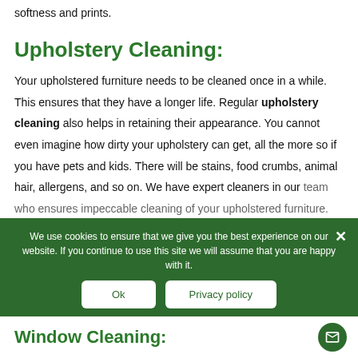softness and prints.
Upholstery Cleaning:
Your upholstered furniture needs to be cleaned once in a while. This ensures that they have a longer life. Regular upholstery cleaning also helps in retaining their appearance. You cannot even imagine how dirty your upholstery can get, all the more so if you have pets and kids. There will be stains, food crumbs, animal hair, allergens, and so on. We have expert cleaners in our team who ensures impeccable cleaning of your upholstered furniture. They are always extra vigilant not to damage your furniture at any cost.
We use cookies to ensure that we give you the best experience on our website. If you continue to use this site we will assume that you are happy with it.
Ok
Privacy policy
Window Cleaning: